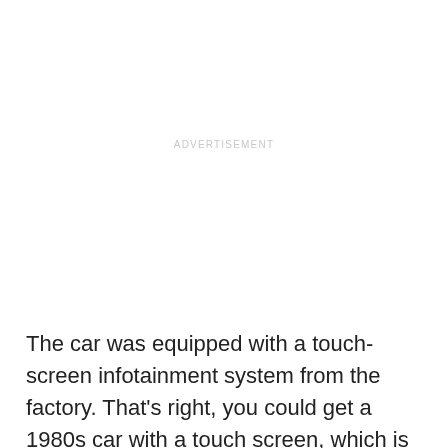ADVERTISEMENT
The car was equipped with a touch-screen infotainment system from the factory. That's right, you could get a 1980s car with a touch screen, which is something that has only